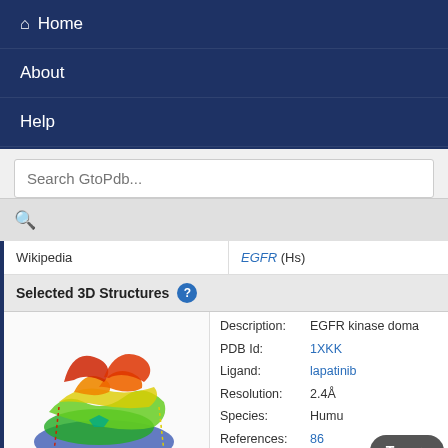Home
About
Help
Search GtoPdb...
| Wikipedia | EGFR (Hs) |
| --- | --- |
Selected 3D Structures
[Figure (photo): 3D protein structure of EGFR kinase domain rendered in rainbow coloring]
| Description: | EGFR kinase doma... |
| PDB Id: | 1XKK |
| Ligand: | lapatinib |
| Resolution: | 2.4Å |
| Species: | Humu... |
| References: | 86 |